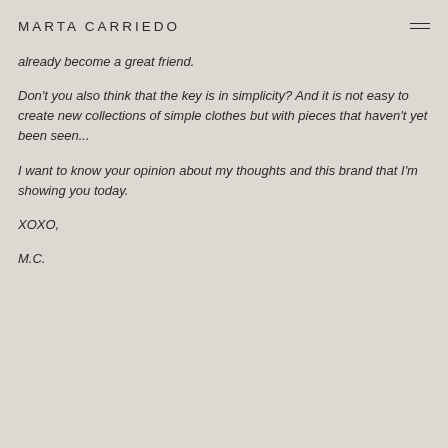MARTA CARRIEDO
already become a great friend.
Don't you also think that the key is in simplicity? And it is not easy to create new collections of simple clothes but with pieces that haven't yet been seen...
I want to know your opinion about my thoughts and this brand that I'm showing you today.
XOXO,
M.C.